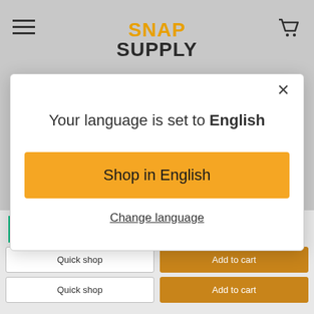[Figure (screenshot): Snap Supply website header with hamburger menu on left, orange and black SNAP SUPPLY logo in center, shopping cart icon on right]
What are you looking for?
Your language is set to English
Shop in English
Change language
TrustScore 4.7 | 1,460 reviews
PRYSM
Quick shop
Add to cart
Quick shop
Add to cart